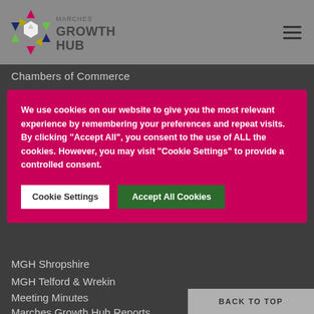[Figure (logo): Marches Growth Hub logo with colorful geometric star and text 'MARCHES GROWTH HUB']
Chambers of Commerce
We use cookies on our website to give you the most relevant experience by remembering your preferences and repeat visits. By clicking "Accept All", you consent to the use of ALL the cookies. However, you may visit "Cookie Settings" to provide a controlled consent.
Cookie Settings
Accept All Cookies
MGH Shropshire
MGH Telford & Wrekin
Meeting Minutes
Marches Growth Hub Reports
BACK TO TOP